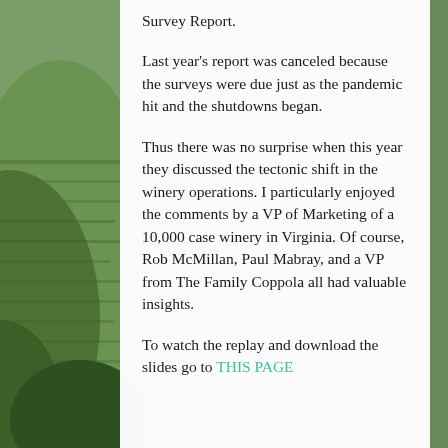Survey Report.
Last year's report was canceled because the surveys were due just as the pandemic hit and the shutdowns began.
Thus there was no surprise when this year they discussed the tectonic shift in the winery operations. I particularly enjoyed the comments by a VP of Marketing of a 10,000 case winery in Virginia. Of course, Rob McMillan, Paul Mabray, and a VP from The Family Coppola all had valuable insights.
To watch the replay and download the slides go to THIS PAGE